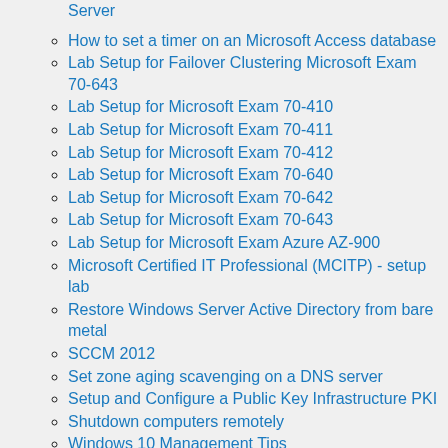Server
How to set a timer on an Microsoft Access database
Lab Setup for Failover Clustering Microsoft Exam 70-643
Lab Setup for Microsoft Exam 70-410
Lab Setup for Microsoft Exam 70-411
Lab Setup for Microsoft Exam 70-412
Lab Setup for Microsoft Exam 70-640
Lab Setup for Microsoft Exam 70-642
Lab Setup for Microsoft Exam 70-643
Lab Setup for Microsoft Exam Azure AZ-900
Microsoft Certified IT Professional (MCITP) - setup lab
Restore Windows Server Active Directory from bare metal
SCCM 2012
Set zone aging scavenging on a DNS server
Setup and Configure a Public Key Infrastructure PKI
Shutdown computers remotely
Windows 10 Management Tips
Profile
About me
Amar, Conocer, Entender
Ancient Civilizations, our roots